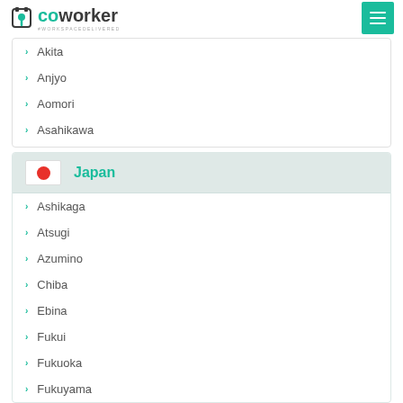coworker #WORKSPACEDELIVERED
Akita
Anjyo
Aomori
Asahikawa
Japan
Ashikaga
Atsugi
Azumino
Chiba
Ebina
Fukui
Fukuoka
Fukuyama